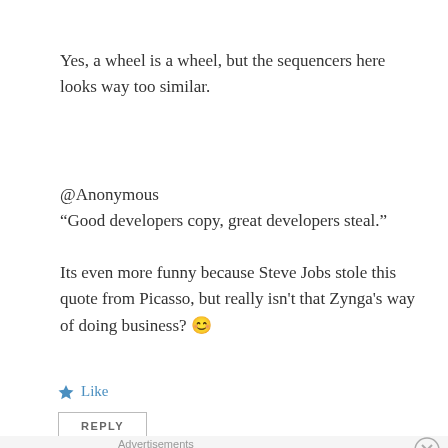Yes, a wheel is a wheel, but the sequencers here looks way too similar.
@Anonymous
“Good developers copy, great developers steal.”
Its even more funny because Steve Jobs stole this quote from Picasso, but really isn't that Zynga's way of doing business? 😊
★ Like
REPLY
Advertisements
Advertisements
[Figure (illustration): WordPress.com advertisement banner: blue-to-purple-to-pink gradient with text 'Simplified pricing for everything you need.' and WordPress.com logo]